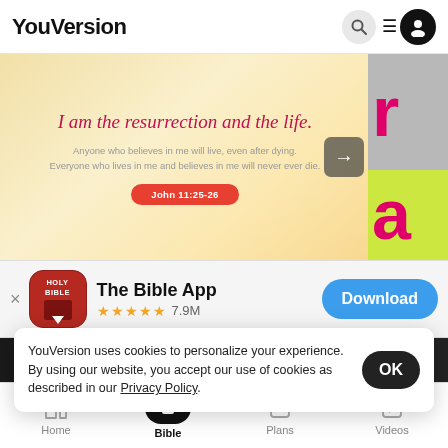YouVersion
[Figure (screenshot): Banner showing Bible verse 'I am the resurrection and the life.' with scripture reference button 'John 11:25-26' on golden/warm background with navigation arrow and partially visible next slide]
[Figure (infographic): App install prompt showing The Bible App icon (red with HOLY BIBLE text), 5-star rating 7.9M reviews, and blue Download button]
YouVersion uses cookies to personalize your experience. By using our website, you accept our use of cookies as described in our Privacy Policy.
Home | Bible | Plans | Videos